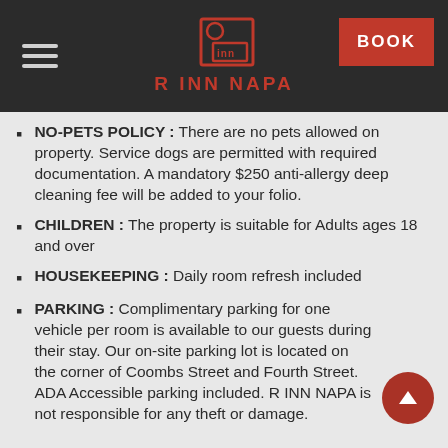R INN NAPA — BOOK
NO-PETS POLICY : There are no pets allowed on property. Service dogs are permitted with required documentation. A mandatory $250 anti-allergy deep cleaning fee will be added to your folio.
CHILDREN : The property is suitable for Adults ages 18 and over
HOUSEKEEPING : Daily room refresh included
PARKING : Complimentary parking for one vehicle per room is available to our guests during their stay. Our on-site parking lot is located on the corner of Coombs Street and Fourth Street. ADA Accessible parking included. R INN NAPA is not responsible for any theft or damage.